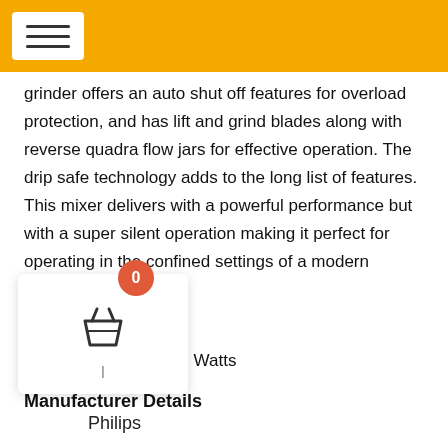grinder offers an auto shut off features for overload protection, and has lift and grind blades along with reverse quadra flow jars for effective operation. The drip safe technology adds to the long list of features. This mixer delivers with a powerful performance but with a super silent operation making it perfect for operating in the confined settings of a modern kitchen.
Product Category
Rated Wattage600  Watts
Manufacturer Details
[Figure (other): Shopping cart icon with badge showing 0, inside a white rounded card widget]
Philips